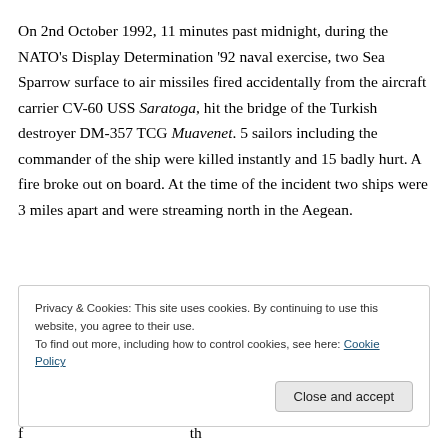On 2nd October 1992, 11 minutes past midnight, during the NATO's Display Determination '92 naval exercise, two Sea Sparrow surface to air missiles fired accidentally from the aircraft carrier CV-60 USS Saratoga, hit the bridge of the Turkish destroyer DM-357 TCG Muavenet. 5 sailors including the commander of the ship were killed instantly and 15 badly hurt. A fire broke out on board. At the time of the incident two ships were 3 miles apart and were streaming north in the Aegean.
Privacy & Cookies: This site uses cookies. By continuing to use this website, you agree to their use.
To find out more, including how to control cookies, see here: Cookie Policy
Close and accept
f th